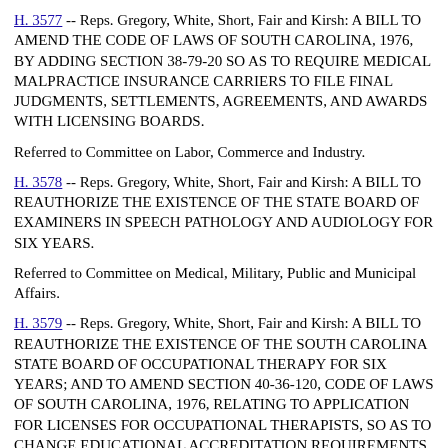H. 3577 -- Reps. Gregory, White, Short, Fair and Kirsh: A BILL TO AMEND THE CODE OF LAWS OF SOUTH CAROLINA, 1976, BY ADDING SECTION 38-79-20 SO AS TO REQUIRE MEDICAL MALPRACTICE INSURANCE CARRIERS TO FILE FINAL JUDGMENTS, SETTLEMENTS, AGREEMENTS, AND AWARDS WITH LICENSING BOARDS.
Referred to Committee on Labor, Commerce and Industry.
H. 3578 -- Reps. Gregory, White, Short, Fair and Kirsh: A BILL TO REAUTHORIZE THE EXISTENCE OF THE STATE BOARD OF EXAMINERS IN SPEECH PATHOLOGY AND AUDIOLOGY FOR SIX YEARS.
Referred to Committee on Medical, Military, Public and Municipal Affairs.
H. 3579 -- Reps. Gregory, White, Short, Fair and Kirsh: A BILL TO REAUTHORIZE THE EXISTENCE OF THE SOUTH CAROLINA STATE BOARD OF OCCUPATIONAL THERAPY FOR SIX YEARS; AND TO AMEND SECTION 40-36-120, CODE OF LAWS OF SOUTH CAROLINA, 1976, RELATING TO APPLICATION FOR LICENSES FOR OCCUPATIONAL THERAPISTS, SO AS TO CHANGE EDUCATIONAL ACCREDITATION REQUIREMENTS.